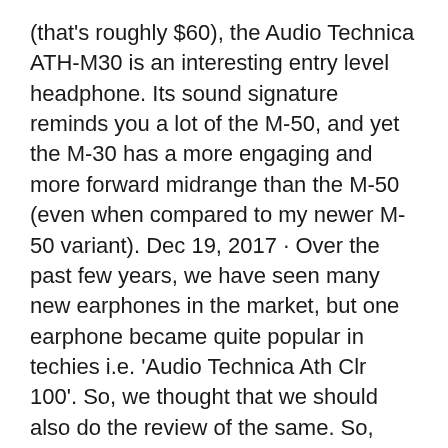(that's roughly $60), the Audio Technica ATH-M30 is an interesting entry level headphone. Its sound signature reminds you a lot of the M-50, and yet the M-30 has a more engaging and more forward midrange than the M-50 (even when compared to my newer M-50 variant). Dec 19, 2017 · Over the past few years, we have seen many new earphones in the market, but one earphone became quite popular in techies i.e. 'Audio Technica Ath Clr 100'. So, we thought that we should also do the review of the same. So, here's the review of Audio Technica Ath Clr 100. In Package Content:
Jun 22, 2016 · Audio-Technica updates